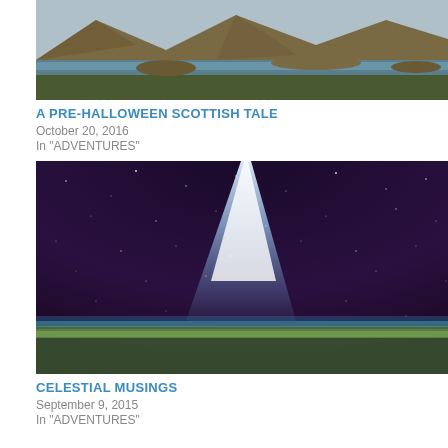[Figure (photo): Scottish landscape with mountains, loch, and rocky shoreline]
A PRE-HALLOWEEN SCOTTISH TALE
October 20, 2016
In "ADVENTURES"
[Figure (photo): Night sky photo showing a comet with bright tail against a starry purple sky, with a glowing horizon]
CELESTIAL MUSINGS
September 9, 2015
In "ADVENTURES"